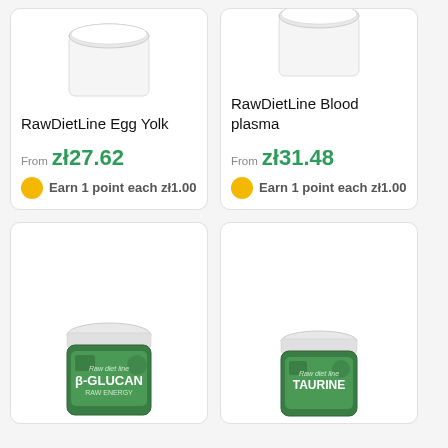[Figure (photo): White supplement jar (top portion cut off) - RawDietLine Egg Yolk product]
RawDietLine Egg Yolk
From zł27.62
Earn 1 point each zł1.00
[Figure (photo): White supplement jar (top portion cut off) - RawDietLine Blood plasma product]
RawDietLine Blood plasma
From zł31.48
Earn 1 point each zł1.00
[Figure (photo): Green supplement jar with white lid - Raw Diet Line β-GLUCAN product]
[Figure (photo): Green supplement jar with white lid - Raw Diet Line TAURINE product]